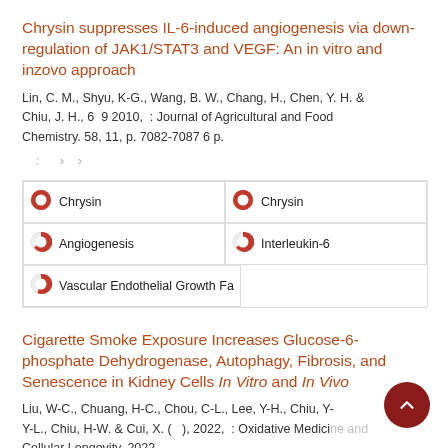Chrysin suppresses IL-6-induced angiogenesis via down-regulation of JAK1/STAT3 and VEGF: An in vitro and inzovo approach
Lin, C. M., Shyu, K-G., Wang, B. W., Chang, H., Chen, Y. H. & Chiu, J. H., 6 9 2010, : Journal of Agricultural and Food Chemistry. 58, 11, p. 7082-7087 6 p.
: › ›
[Figure (infographic): Two-column keyword grid with donut/pie icons showing: Chrysin (100%), Chrysin (100%), Angiogenesis (~75%), Interleukin-6 (~75%), Vascular Endothelial Growth Fa (~55%)]
Cigarette Smoke Exposure Increases Glucose-6-phosphate Dehydrogenase, Autophagy, Fibrosis, and Senescence in Kidney Cells In Vitro and In Vivo
Liu, W-C., Chuang, H-C., Chou, C-L., Lee, Y-H., Chiu, Y-Y-L., Chiu, H-W. & Cui, X. ( ), 2022, : Oxidative Medicine and Cellular Longevity. 2022